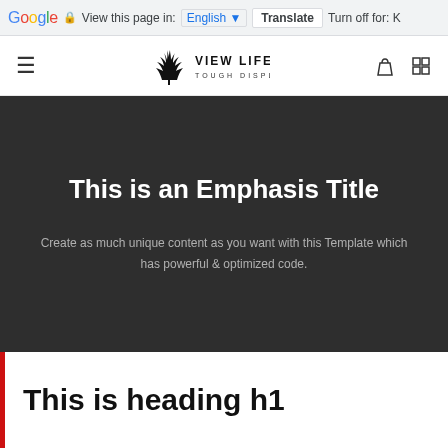Google | View this page in: English | Translate | Turn off for: K
[Figure (logo): View Life Tough Display site logo with cannabis leaf icon]
This is an Emphasis Title
Create as much unique content as you want with this Template which has powerful & optimized code.
This is heading h1